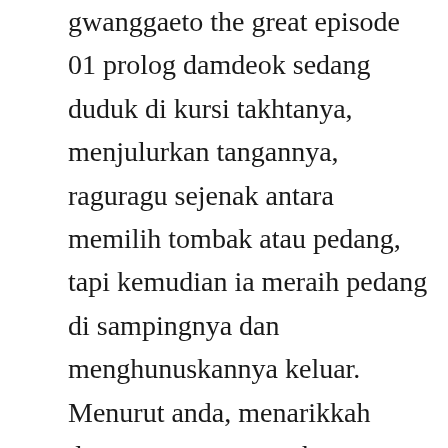gwanggaeto the great episode 01 prolog damdeok sedang duduk di kursi takhtanya, menjulurkan tangannya, raguragu sejenak antara memilih tombak atau pedang, tapi kemudian ia meraih pedang di sampingnya dan menghunuskannya keluar. Menurut anda, menarikkah drama gwanggaeto, the great conqueror 2011 untuk ditonton, sebagai salah satu cara mendapatkan hiburan bermutu dari dunia seni peran. Judul film korea terbaru romantis 2019 jumong korean drama, taiwanese drama, bollywood, anime and. Full episodes of king gwanggaeto the great english